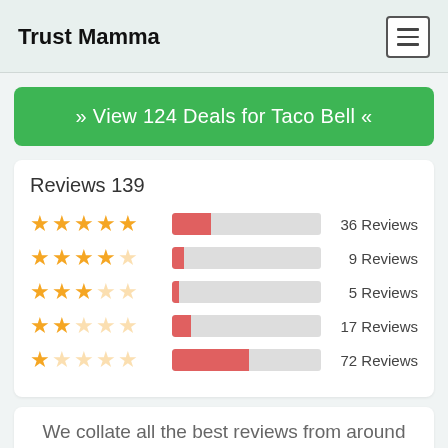Trust Mamma
» View 124 Deals for Taco Bell «
Reviews 139
[Figure (bar-chart): Star rating distribution]
We collate all the best reviews from around